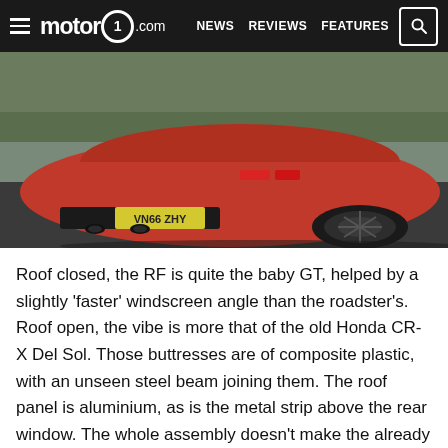motor1.com  NEWS  REVIEWS  FEATURES
[Figure (photo): Rear three-quarter view of a red Mazda MX-5 RF with UK licence plate VN66 ZHY, parked on a dark surface with trees in background.]
Roof closed, the RF is quite the baby GT, helped by a slightly 'faster' windscreen angle than the roadster's. Roof open, the vibe is more that of the old Honda CR-X Del Sol. Those buttresses are of composite plastic, with an unseen steel beam joining them. The roof panel is aluminium, as is the metal strip above the rear window. The whole assembly doesn't make the already tiny MX-5 boot space any smaller, which is a relief, but neither does it release any extra storage space in the cabin,